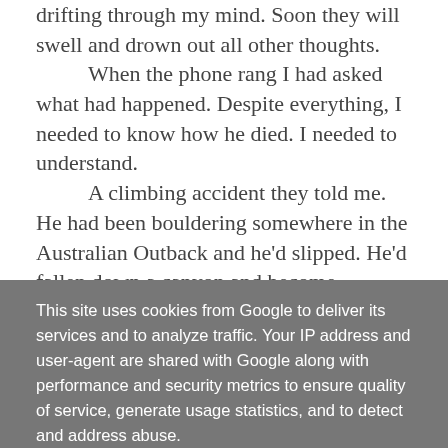drifting through my mind. Soon they will swell and drown out all other thoughts.

When the phone rang I had asked what had happened. Despite everything, I needed to know how he died. I needed to understand.

A climbing accident they told me. He had been bouldering somewhere in the Australian Outback and he'd slipped. He'd fallen down a canyon and become trapped. By the time they'd got to him he was critical and died on the way to the hospital.
This site uses cookies from Google to deliver its services and to analyze traffic. Your IP address and user-agent are shared with Google along with performance and security metrics to ensure quality of service, generate usage statistics, and to detect and address abuse.
LEARN MORE    OK